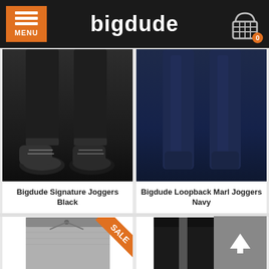bigdude
[Figure (photo): Bigdude Signature Joggers Black – lower body product photo showing black joggers and shoes]
Bigdude Signature Joggers Black
£23.99  £16.99
[Figure (photo): Bigdude Loopback Marl Joggers Navy – lower body product photo showing navy joggers]
Bigdude Loopback Marl Joggers Navy
£21.99  £12.99
[Figure (photo): Grey marl joggers with drawstring waist, SALE banner in corner]
[Figure (photo): Black joggers with grey side stripes]